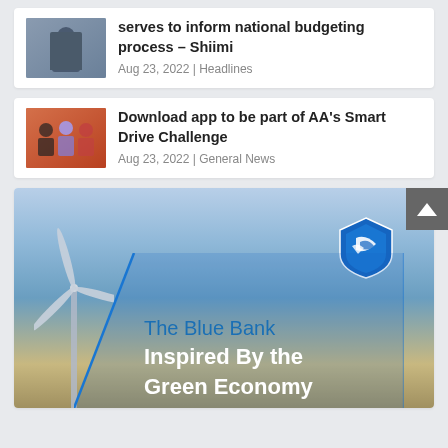serves to inform national budgeting process – Shiimi
Aug 23, 2022 | Headlines
Download app to be part of AA's Smart Drive Challenge
Aug 23, 2022 | General News
[Figure (photo): Advertisement banner for Standard Bank – The Blue Bank Inspired By the Green Economy, showing wind turbine silhouette and Standard Bank shield logo against sky background]